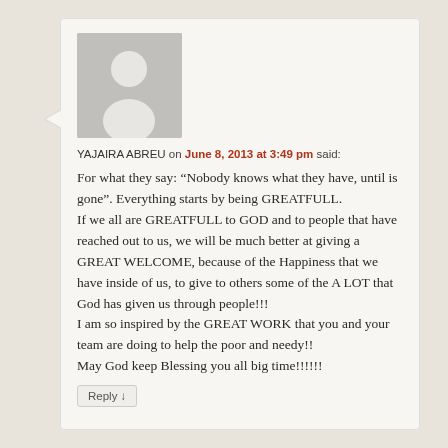[Figure (illustration): Grey avatar placeholder image showing a generic person silhouette]
YAJAIRA ABREU on June 8, 2013 at 3:49 pm said:
For what they say: “Nobody knows what they have, until is gone”. Everything starts by being GREATFULL.
If we all are GREATFULL to GOD and to people that have reached out to us, we will be much better at giving a GREAT WELCOME, because of the Happiness that we have inside of us, to give to others some of the A LOT that God has given us through people!!!
I am so inspired by the GREAT WORK that you and your team are doing to help the poor and needy!!
May God keep Blessing you all big time!!!!!!
Reply ↓